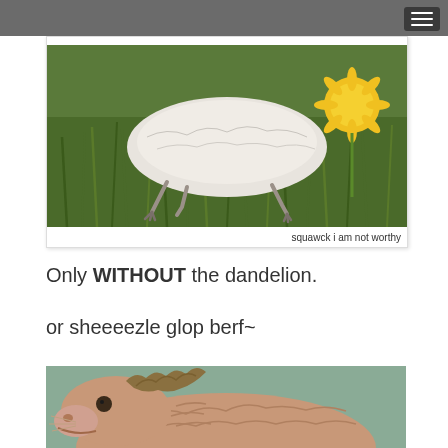[Figure (photo): Photo of a small animal (possibly a bird or reptile) lying in green grass near a yellow dandelion flower, with clawed feet visible. Caption reads: squawck i am not worthy]
squawck i am not worthy
Only WITHOUT the dandelion.
or sheeeezle glop berf~
[Figure (photo): Close-up photo of a hairless or mostly hairless baby animal (possibly a squirrel or similar rodent) with wrinkled pink skin and a small tuft of hair, viewed from the side against a teal/green background.]